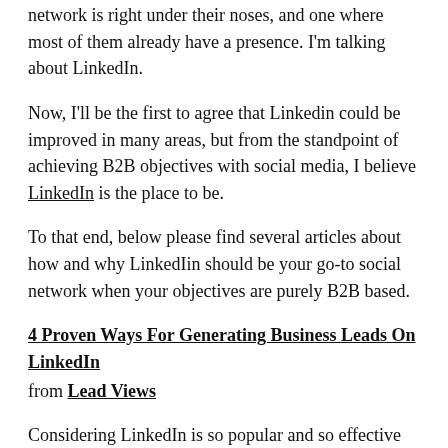network is right under their noses, and one where most of them already have a presence. I'm talking about LinkedIn.
Now, I'll be the first to agree that Linkedin could be improved in many areas, but from the standpoint of achieving B2B objectives with social media, I believe LinkedIn is the place to be.
To that end, below please find several articles about how and why LinkedIin should be your go-to social network when your objectives are purely B2B based.
4 Proven Ways For Generating Business Leads On LinkedIn
from Lead Views
Considering LinkedIn is so popular and so effective when it comes to B2B lead generation, at LeadFormix we tried to research and find out, what kind of activities within LinkedIn help with lead generation. The research is based on visitor data collected across websites of 289 B2B clients of LeadFormix. All of them have some kind of presence on LinkedIn, it could be an employee profile or company profile or some group activity. In this post I will not discuss the report, but how B2B marketers can use the findings of